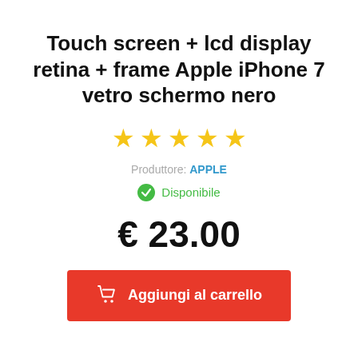Touch screen + lcd display retina + frame Apple iPhone 7 vetro schermo nero
[Figure (other): 5 yellow star rating icons]
Produttore: APPLE
Disponibile
€ 23.00
Aggiungi al carrello